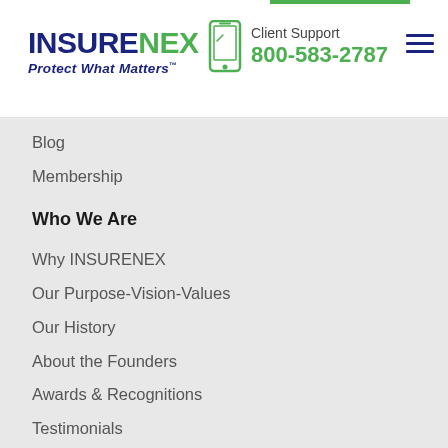INSURENEX Protect What Matters™ | Client Support 800-583-2787
Blog
Membership
Who We Are
Why INSURENEX
Our Purpose-Vision-Values
Our History
About the Founders
Awards & Recognitions
Testimonials
News & Events
Contact Us